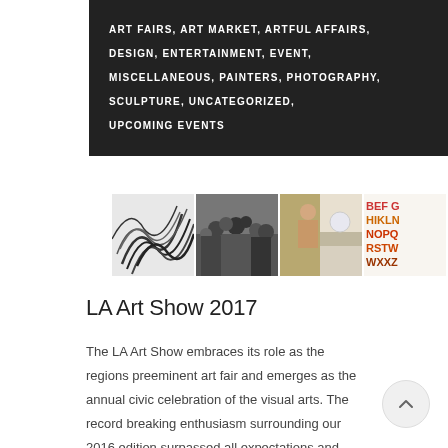ART FAIRS, ART MARKET, ARTFUL AFFAIRS, DESIGN, ENTERTAINMENT, EVENT, MISCELLANEOUS, PAINTERS, PHOTOGRAPHY, SCULPTURE, UNCATEGORIZED, UPCOMING EVENTS
[Figure (photo): Strip of four images: abstract black and white lines, black and white crowd photo, figure at counter illustration, colorful letter grid]
LA Art Show 2017
The LA Art Show embraces its role as the regions preeminent art fair and emerges as the annual civic celebration of the visual arts. The record breaking enthusiasm surrounding our 2016 edition surpassed all expectations and encourages our team to deepen our roster of